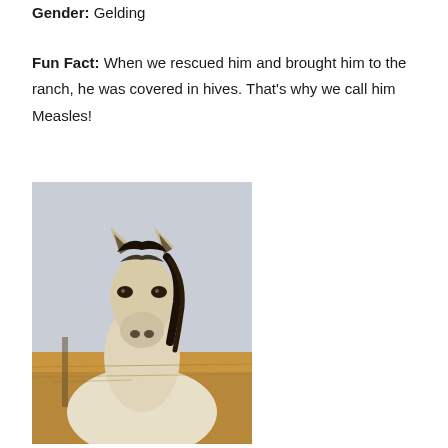Gender: Gelding
Fun Fact: When we rescued him and brought him to the ranch, he was covered in hives. That's why we call him Measles!
[Figure (photo): Close-up photograph of a pale cream/buckskin horse with dark mane and ears, looking directly at the camera, standing in a field of dry golden grass with a light grey/overcast sky background.]